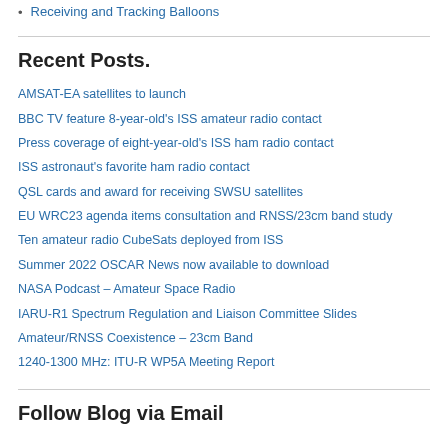Receiving and Tracking Balloons
Recent Posts.
AMSAT-EA satellites to launch
BBC TV feature 8-year-old's ISS amateur radio contact
Press coverage of eight-year-old's ISS ham radio contact
ISS astronaut's favorite ham radio contact
QSL cards and award for receiving SWSU satellites
EU WRC23 agenda items consultation and RNSS/23cm band study
Ten amateur radio CubeSats deployed from ISS
Summer 2022 OSCAR News now available to download
NASA Podcast – Amateur Space Radio
IARU-R1 Spectrum Regulation and Liaison Committee Slides
Amateur/RNSS Coexistence – 23cm Band
1240-1300 MHz: ITU-R WP5A Meeting Report
Follow Blog via Email